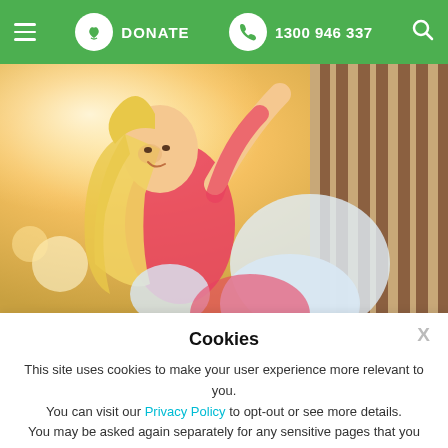DONATE  1300 946 337
[Figure (photo): Children playing outdoors in bright sunlight; a smiling blonde girl in a pink/red top is being lifted or tumbling, with an adult in a striped brown sleeve visible on the right.]
Cookies
This site uses cookies to make your user experience more relevant to you.
You can visit our Privacy Policy to opt-out or see more details.
You may be asked again separately for any sensitive pages that you visit within this site.
CONTINUE